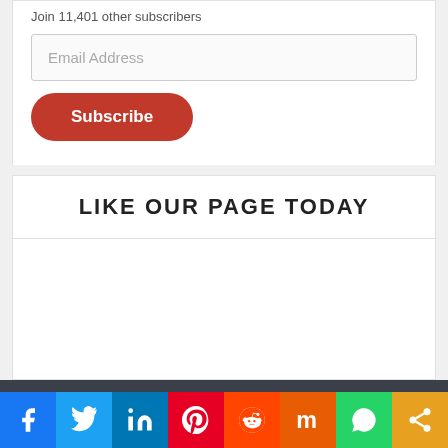Join 11,401 other subscribers
[Figure (screenshot): Email Address input field]
[Figure (screenshot): Subscribe button (red rounded)]
LIKE OUR PAGE TODAY
[Figure (screenshot): Social media share bar with Facebook, Twitter, LinkedIn, Pinterest, Reddit, Mix, WhatsApp, and Share buttons]